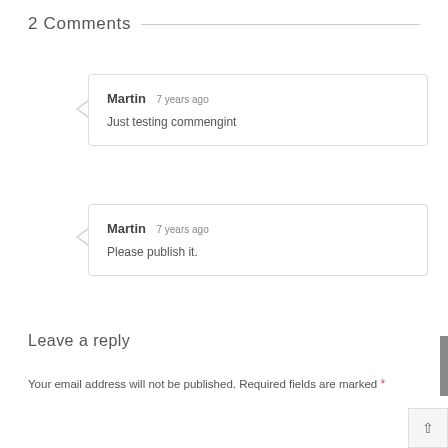2 Comments
Martin 7 years ago
Just testing commengint
Martin 7 years ago
Please publish it.
Leave a reply
Your email address will not be published. Required fields are marked *